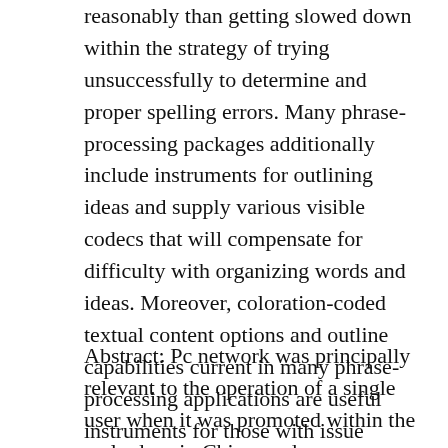reasonably than getting slowed down within the strategy of trying unsuccessfully to determine and proper spelling errors. Many phrase-processing packages additionally include instruments for outlining ideas and supply various visible codecs that will compensate for difficulty with organizing words and ideas. Moreover, coloration-coded textual content options and outline capabilities current in many phrase-processing applications are useful instruments for those with issue sorting and sequencing ideas and ideas.
Abstract: Pc network was principally relevant to the operation of a single user when it was promoted within the early days in China, and